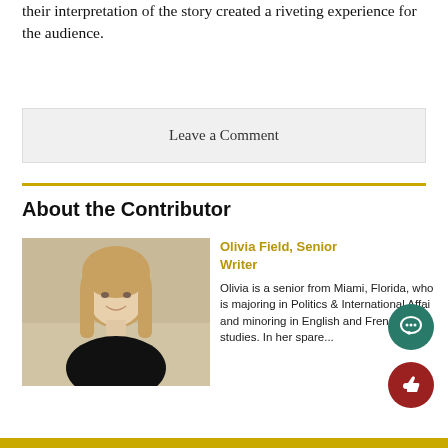their interpretation of the story created a riveting experience for the audience.
Leave a Comment
About the Contributor
[Figure (photo): Headshot of Olivia Field, a young woman with blonde hair and a dark turtleneck sweater, smiling against a neutral wall background.]
Olivia Field, Senior Writer
Olivia is a senior from Miami, Florida, who is majoring in Politics & International Affairs and minoring in English and French studies. In her spare...